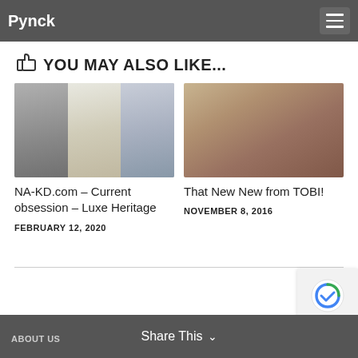Pynck
YOU MAY ALSO LIKE...
[Figure (photo): Three fashion photos: woman in grey blouse with bow, woman in cream backless top, woman in black top with jeans]
NA-KD.com – Current obsession – Luxe Heritage
FEBRUARY 12, 2020
[Figure (photo): Blonde woman in pink fluffy top in rustic barn setting]
That New New from TOBI!
NOVEMBER 8, 2016
ABOUT US   Share This